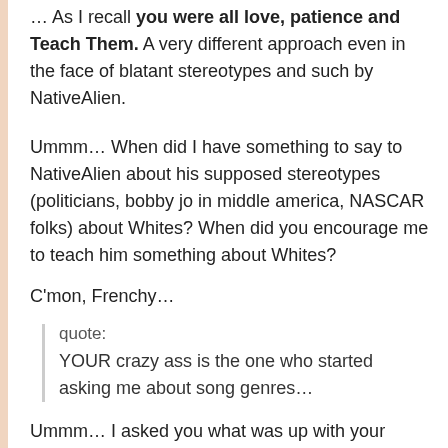As I recall you were all love, patience and Teach Them. A very different approach even in the face of blatant stereotypes and such by NativeAlien.
Ummm… When did I have something to say to NativeAlien about his supposed stereotypes (politicians, bobby jo in middle america, NASCAR folks) about Whites? When did you encourage me to teach him something about Whites?
C'mon, Frenchy…
quote:
YOUR crazy ass is the one who started asking me about song genres…
Ummm… I asked you what was up with your